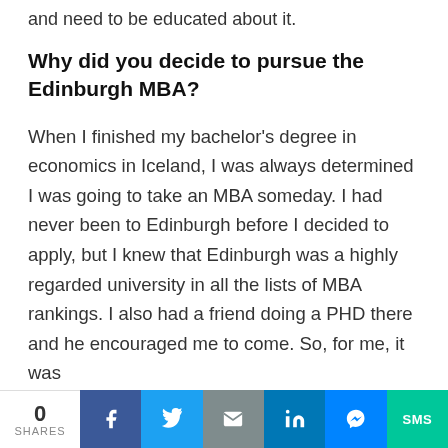and need to be educated about it.
Why did you decide to pursue the Edinburgh MBA?
When I finished my bachelor's degree in economics in Iceland, I was always determined I was going to take an MBA someday. I had never been to Edinburgh before I decided to apply, but I knew that Edinburgh was a highly regarded university in all the lists of MBA rankings. I also had a friend doing a PHD there and he encouraged me to come. So, for me, it was
0 SHARES | Facebook | Twitter | Email | LinkedIn | Messenger | SMS